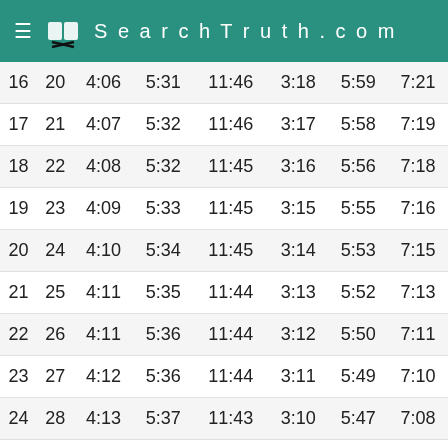SearchTruth.com
| 16 | 20 | 4:06 | 5:31 | 11:46 | 3:18 | 5:59 | 7:21 |
| 17 | 21 | 4:07 | 5:32 | 11:46 | 3:17 | 5:58 | 7:19 |
| 18 | 22 | 4:08 | 5:32 | 11:45 | 3:16 | 5:56 | 7:18 |
| 19 | 23 | 4:09 | 5:33 | 11:45 | 3:15 | 5:55 | 7:16 |
| 20 | 24 | 4:10 | 5:34 | 11:45 | 3:14 | 5:53 | 7:15 |
| 21 | 25 | 4:11 | 5:35 | 11:44 | 3:13 | 5:52 | 7:13 |
| 22 | 26 | 4:11 | 5:36 | 11:44 | 3:12 | 5:50 | 7:11 |
| 23 | 27 | 4:12 | 5:36 | 11:44 | 3:11 | 5:49 | 7:10 |
| 24 | 28 | 4:13 | 5:37 | 11:43 | 3:10 | 5:47 | 7:08 |
| 25 | 29 | 4:14 | 5:38 | 11:43 | 3:09 | 5:46 | 7:07 |
| 26 | 30 | 4:15 | 5:39 | 11:43 | 3:08 | 5:44 | 7:05 |